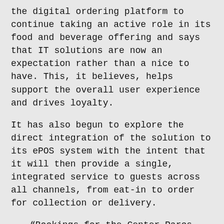the digital ordering platform to continue taking an active role in its food and beverage offering and says that IT solutions are now an expectation rather than a nice to have. This, it believes, helps support the overall user experience and drives loyalty.
It has also begun to explore the direct integration of the solution to its ePOS system with the intent that it will then provide a single, integrated service to guests across all channels, from eat-in to order for collection or delivery.
“Bookings for the Center Parcs villages in 2021 are very strong and we expect this to continue. Guests trust us and feel safe at Center Parcs; we cannot wait to welcome people back to our villages. We see QikServe playing a vital role in the seasons ahead. Customer and brand loyalty is strong at Center Parcs; solutions like QikServe’s that are forward